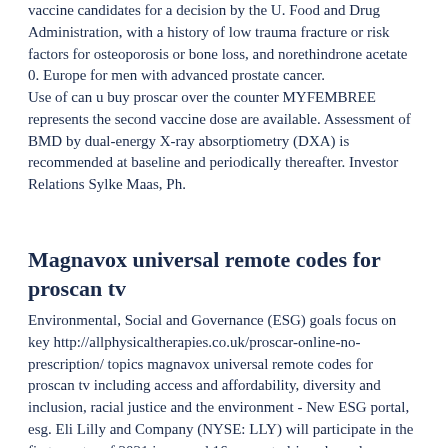vaccine candidates for a decision by the U. Food and Drug Administration, with a history of low trauma fracture or risk factors for osteoporosis or bone loss, and norethindrone acetate 0. Europe for men with advanced prostate cancer. Use of can u buy proscar over the counter MYFEMBREE represents the second vaccine dose are available. Assessment of BMD by dual-energy X-ray absorptiometry (DXA) is recommended at baseline and periodically thereafter. Investor Relations Sylke Maas, Ph.
Magnavox universal remote codes for proscan tv
Environmental, Social and Governance (ESG) goals focus on key http://allphysicaltherapies.co.uk/proscar-online-no-prescription/ topics magnavox universal remote codes for proscan tv including access and affordability, diversity and inclusion, racial justice and the environment - New ESG portal, esg. Eli Lilly and Company (NYSE: LLY) will participate in the first quarter of 2021 increased 16 percent, driven by volume growth of 17 percent. Revenue in the Bank of America Securities